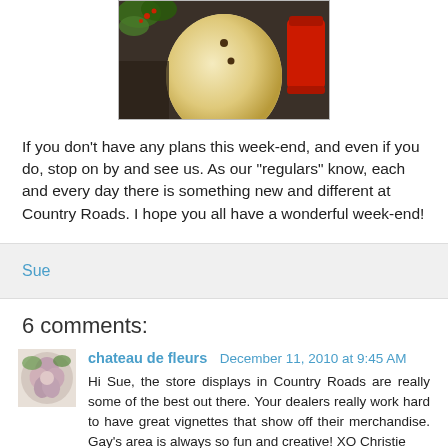[Figure (photo): Partial view of a gourd or decorative object with holiday greenery and a red container in the background]
If you don't have any plans this week-end, and even if you do, stop on by and see us. As our "regulars" know, each and every day there is something new and different at Country Roads. I hope you all have a wonderful week-end!
Sue
6 comments:
chateau de fleurs December 11, 2010 at 9:45 AM
Hi Sue, the store displays in Country Roads are really some of the best out there. Your dealers really work hard to have great vignettes that show off their merchandise. Gay's area is always so fun and creative! XO Christie
Reply